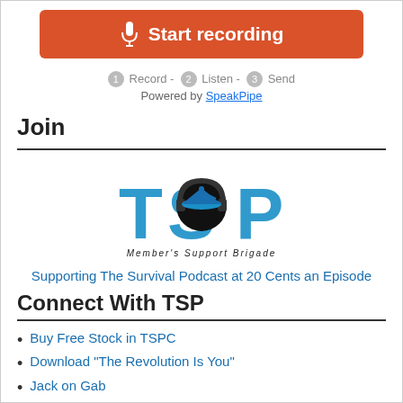[Figure (other): Orange 'Start recording' button with microphone icon]
1 Record - 2 Listen - 3 Send
Powered by SpeakPipe
Join
[Figure (logo): TSP Member's Support Brigade logo - blue letters T, S, P with headphones and graduation cap, subtitle 'Member's Support Brigade']
Supporting The Survival Podcast at 20 Cents an Episode
Connect With TSP
Buy Free Stock in TSPC
Download "The Revolution Is You"
Jack on Gab